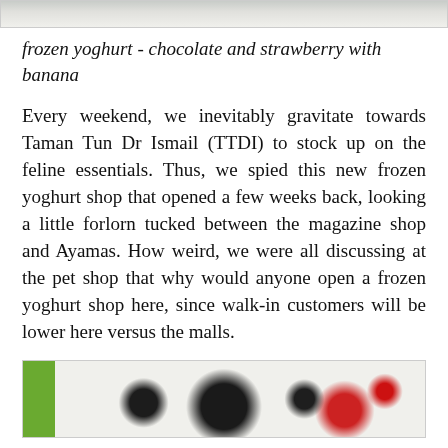[Figure (photo): Top portion of a photo, appearing to show a light-colored surface or food item]
frozen yoghurt - chocolate and strawberry with banana
Every weekend, we inevitably gravitate towards Taman Tun Dr Ismail (TTDI) to stock up on the feline essentials. Thus, we spied this new frozen yoghurt shop that opened a few weeks back, looking a little forlorn tucked between the magazine shop and Ayamas. How weird, we were all discussing at the pet shop that why would anyone open a frozen yoghurt shop here, since walk-in customers will be lower here versus the malls.
[Figure (photo): Bottom portion of a photo showing what appears to be dark berries (possibly blackberries or blueberries) and red fruit on a white background with green on the left edge]